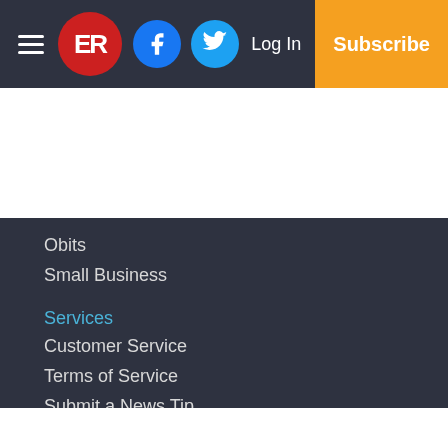ER | Log In | Subscribe
Obits
Small Business
Services
Customer Service
Terms of Service
Submit a News Tip
Submit a Photo
Copyright
© 2022, Davie County Enterprise Record